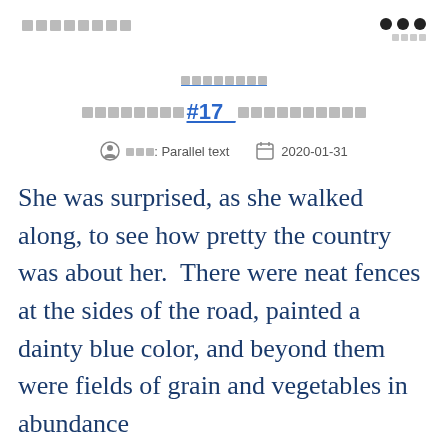░░░░░░░░ ●●● ░░░░
░░░░░░░░
░░░░░░░░#17_░░░░░░░░░░░
░░░: Parallel text   2020-01-31
She was surprised, as she walked along, to see how pretty the country was about her.  There were neat fences at the sides of the road, painted a dainty blue color, and beyond them were fields of grain and vegetables in abundance